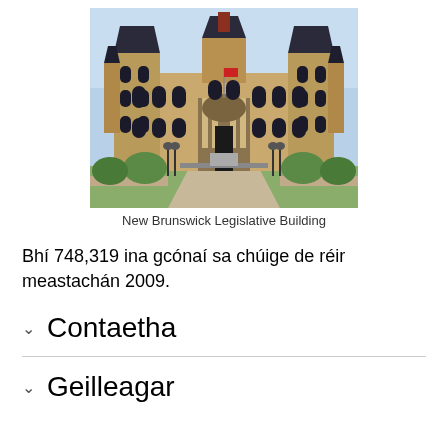[Figure (photo): Photograph of the New Brunswick Legislative Building, a large ornate stone government building with mansard roofs, towers, arched windows, and a central portico entrance with flagpole in front.]
New Brunswick Legislative Building
Bhí 748,319 ina gcónaí sa chúige de réir meastachán 2009.
Contaetha
Geilleagar